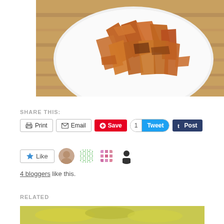[Figure (photo): Overhead photo of roasted sweet potato fries on a white plate placed on a wooden cutting board]
SHARE THIS:
Print  Email  Save  1  Tweet  t Post
[Figure (other): Like button with star icon, followed by user avatars (photo, green grid icon, red/pink grid icon, silhouette icon)]
4 bloggers like this.
RELATED
[Figure (photo): Partial view of a food photo at the bottom of the page]